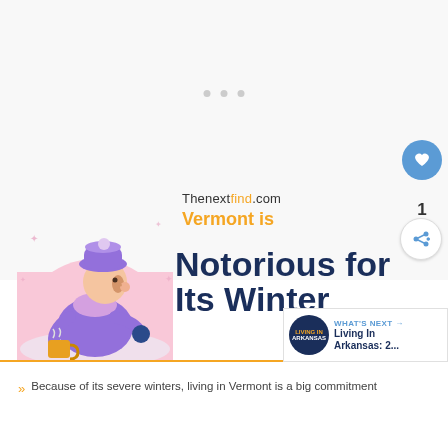[Figure (illustration): Web page screenshot showing a winter-themed illustration with a person in purple winter clothing holding a hot drink, pink arched background, with text 'Thenextfind.com', 'Vermont is Notorious for Its Winter' and a bullet point below the orange divider.]
Thenextfind.com
Vermont is
Notorious for Its Winter
WHAT'S NEXT → Living In Arkansas: 2...
Because of its severe winters, living in Vermont is a big commitment